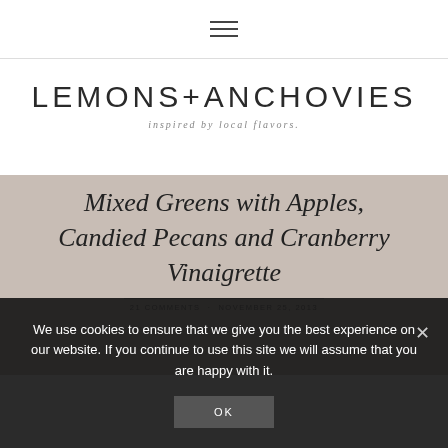≡
LEMONS+ANCHOVIES
inspired by local flavors.
Mixed Greens with Apples, Candied Pecans and Cranberry Vinaigrette
21 COMMENTS · NOVEMBER 25, 2013
We use cookies to ensure that we give you the best experience on our website. If you continue to use this site we will assume that you are happy with it.
OK